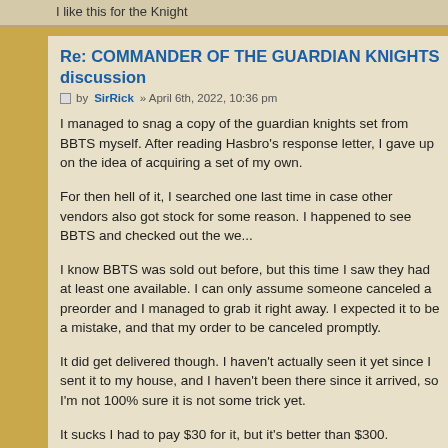I like this for the Knight
Re: COMMANDER OF THE GUARDIAN KNIGHTS discussion
by SirRick » April 6th, 2022, 10:36 pm
I managed to snag a copy of the guardian knights set from BBTS myself. After reading Hasbro's response letter, I gave up on the idea of acquiring a set of my own.
For then hell of it, I searched one last time in case other vendors also got some stock for some reason. I happened to see BBTS and checked out the we...
I know BBTS was sold out before, but this time I saw they had at least one available. I can only assume someone canceled a preorder and I managed to grab it right away. I expected it to be a mistake, and that my order to be canceled promptly.
It did get delivered though. I haven't actually seen it yet since I sent it to my house, and I haven't been there since it arrived, so I'm not 100% sure it is not some trick yet.
It sucks I had to pay $30 for it, but it's better than $300.